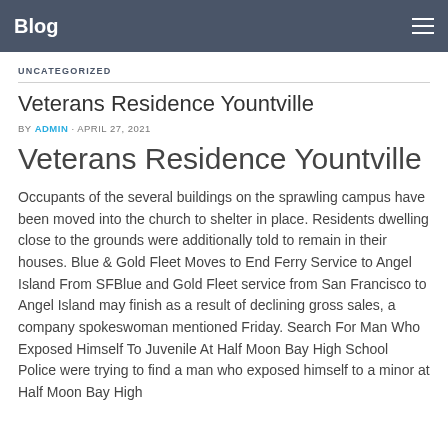Blog
UNCATEGORIZED
Veterans Residence Yountville
BY ADMIN · APRIL 27, 2021
Veterans Residence Yountville
Occupants of the several buildings on the sprawling campus have been moved into the church to shelter in place. Residents dwelling close to the grounds were additionally told to remain in their houses. Blue & Gold Fleet Moves to End Ferry Service to Angel Island From SFBlue and Gold Fleet service from San Francisco to Angel Island may finish as a result of declining gross sales, a company spokeswoman mentioned Friday. Search For Man Who Exposed Himself To Juvenile At Half Moon Bay High School Police were trying to find a man who exposed himself to a minor at Half Moon Bay High